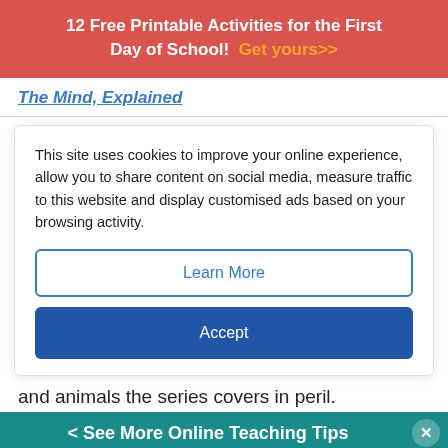12 Free Printable Activities for the First Day of School!  Get yours>>
The Mind, Explained
This site uses cookies to improve your online experience, allow you to share content on social media, measure traffic to this website and display customised ads based on your browsing activity.
Learn More
Accept
and animals the series covers in peril.
< See More Online Teaching Tips
hulu  Disney+  ESPN+  GET THE DISNEY BUNDLE  Incl. Hulu (ad-supported) or Hulu (No Ads). Access content from each service separately. ©2021 Disney and its related entities